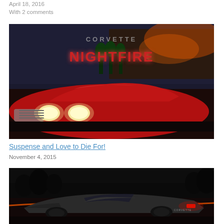April 18, 2016
With 2 comments
[Figure (photo): Book cover for 'Corvette Nightfire' showing a red vintage Corvette with city lights in background and stylized text]
Suspense and Love to Die For!
November 4, 2015
[Figure (photo): Dark modern Corvette sports car photographed at night with light trails in background]